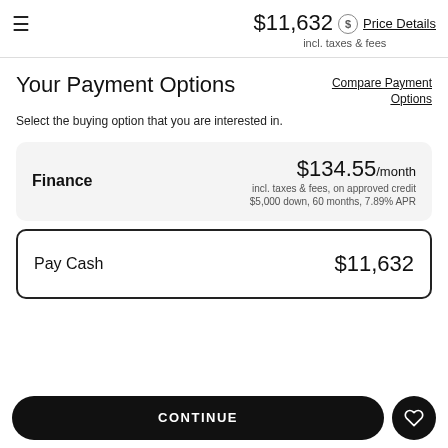$11,632 incl. taxes & fees  Price Details
Your Payment Options
Compare Payment Options
Select the buying option that you are interested in.
Finance  $134.55/month  incl. taxes & fees, on approved credit  $5,000 down, 60 months, 7.89% APR
Pay Cash  $11,632
CONTINUE